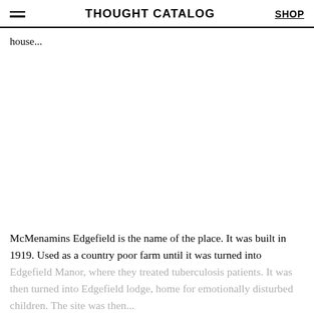THOUGHT CATALOG | SHOP
house...
McMenamins Edgefield is the name of the place. It was built in 1919. Used as a country poor farm until it was turned into Edgefield Manor, where they treated tuberculosis patients. It was then turned into Edgefield lodge, home for emotionally disturbed children. The site was then...